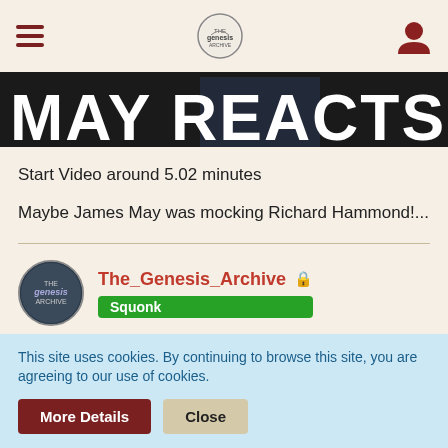Navigation bar with hamburger menu, site logo, and user icon
[Figure (photo): Hero image strip showing partial text 'MAY REACTS' in large white bold letters on dark background with a person in jeans]
Start Video around 5.02 minutes
Maybe James May was mocking Richard Hammond!...
The_Genesis_Archive 🔒
Squonk
Feb 22nd 2022
James May was mocking Hammond. Hammond has a Genesis (no
This site uses cookies. By continuing to browse this site, you are agreeing to our use of cookies.
More Details
Close